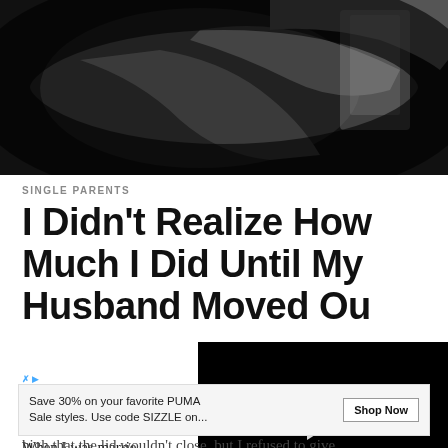[Figure (photo): Dark photograph showing a person's hands/arms, possibly in a car or dark interior setting, fisheye or wide-angle perspective]
SINGLE PARENTS
I Didn't Realize How Much I Did Until My Husband Moved Out
[Figure (screenshot): Video player overlay showing a black screen with a white play button, progress bar at ~18%, time showing 02:43, and controls including mute, grid, settings, and fullscreen icons]
by Grown and Flo
When I was marrie regularly even though I didn't work outside the home.
[Figure (other): Advertisement banner: Save 30% on your favorite PUMA Sale styles. Use code SIZZLE on... with Shop Now button]
high that the lid wouldn't close, but I refused to give